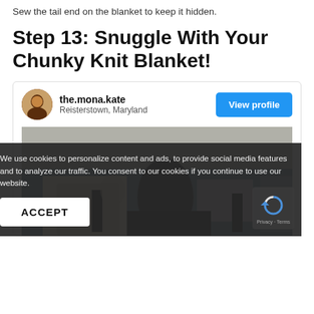Sew the tail end on the blanket to keep it hidden.
Step 13: Snuggle With Your Chunky Knit Blanket!
[Figure (other): Profile card for the.mona.kate from Reisterstown, Maryland with a View profile button and a photo of a woman sitting on a couch with a chunky knit blanket]
We use cookies to personalize content and ads, to provide social media features and to analyze our traffic. You consent to our cookies if you continue to use our website.